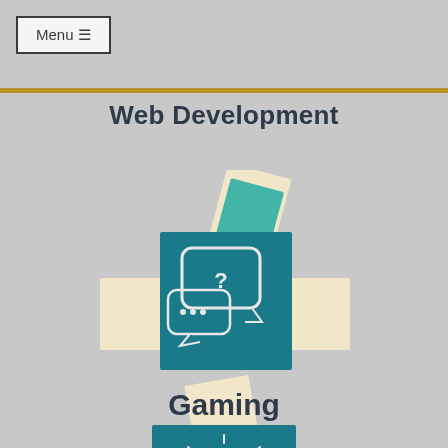Menu ☰
Web Development
[Figure (illustration): Teal square card with chat bubble icons (question mark and ellipsis) surrounded by light cream/beige rotated note cards on a gray background]
Gaming
[Figure (illustration): Teal square card with a lightbulb and upward trend arrow icon on a gray background]